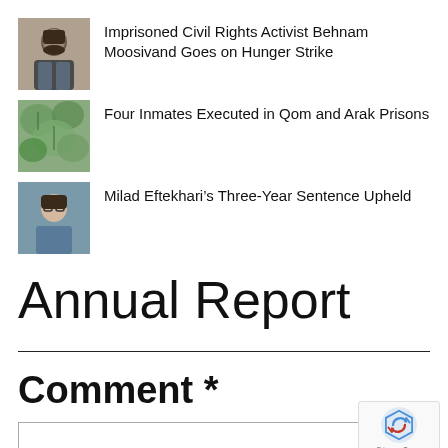[Figure (photo): Thumbnail photo of Behnam Moosivand]
Imprisoned Civil Rights Activist Behnam Moosivand Goes on Hunger Strike
[Figure (photo): Thumbnail image with green leaf/plant pattern]
Four Inmates Executed in Qom and Arak Prisons
[Figure (photo): Thumbnail photo of Milad Eftekhari]
Milad Eftekhari’s Three-Year Sentence Upheld
Annual Report
Comment *
[Figure (other): reCAPTCHA badge with Privacy - Terms text]